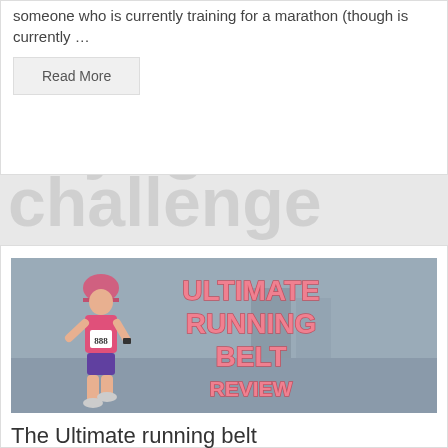someone who is currently training for a marathon (though is currently …
Read More
yoga
challenge
[Figure (photo): A female runner wearing a pink hat, pink top with race bib number 888, and purple shorts, running on a road. Overlaid text reads ULTIMATE RUNNING BELT REVIEW in large pink block letters.]
The Ultimate running belt
November 30, 2015  //  by Di Hickman